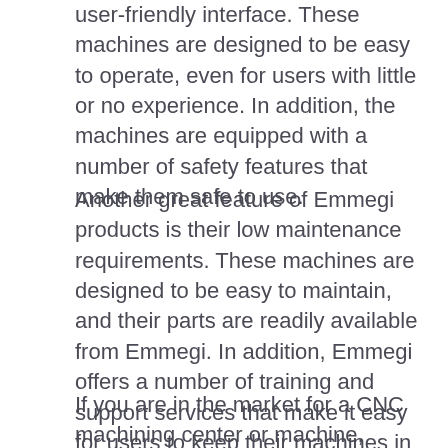user-friendly interface. These machines are designed to be easy to operate, even for users with little or no experience. In addition, the machines are equipped with a number of safety features that make them safe to use.
Another great feature of Emmegi products is their low maintenance requirements. These machines are designed to be easy to maintain, and their parts are readily available from Emmegi. In addition, Emmegi offers a number of training and support services that make it easy for users to keep their machines in top condition.
If you are in the market for a CNC machining center or machine, Emmegi should be at the